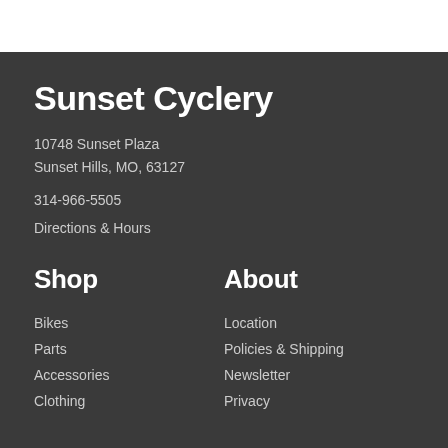Sunset Cyclery
10748 Sunset Plaza
Sunset Hills, MO, 63127
314-966-5505
Directions & Hours
Shop
Bikes
Parts
Accessories
Clothing
About
Location
Policies & Shipping
Newsletter
Privacy